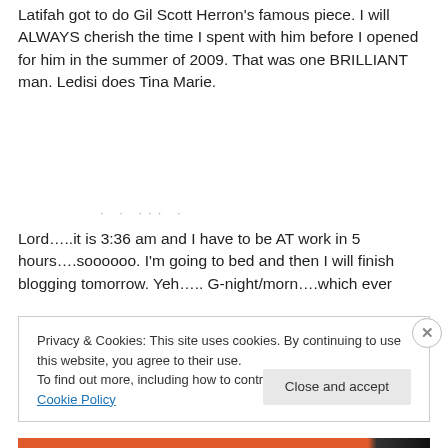Latifah got to do Gil Scott Herron's famous piece. I will ALWAYS cherish the time I spent with him before I opened for him in the summer of 2009. That was one BRILLIANT man. Ledisi does Tina Marie.
Lord…..it is 3:36 am and I have to be AT work in 5 hours….soooooo. I'm going to bed and then I will finish blogging tomorrow. Yeh….. G-night/morn….which ever
Privacy & Cookies: This site uses cookies. By continuing to use this website, you agree to their use.
To find out more, including how to control cookies, see here: Cookie Policy